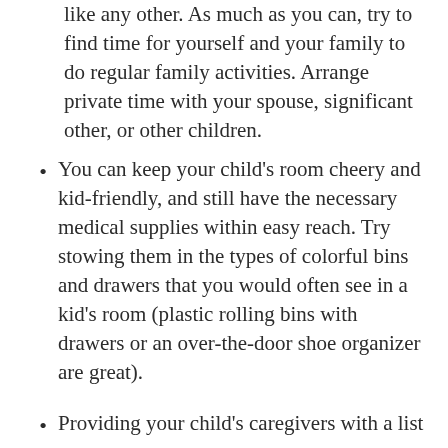like any other. As much as you can, try to find time for yourself and your family to do regular family activities. Arrange private time with your spouse, significant other, or other children.
You can keep your child's room cheery and kid-friendly, and still have the necessary medical supplies within easy reach. Try stowing them in the types of colorful bins and drawers that you would often see in a kid's room (plastic rolling bins with drawers or an over-the-door shoe organizer are great).
Providing your child's caregivers with a list